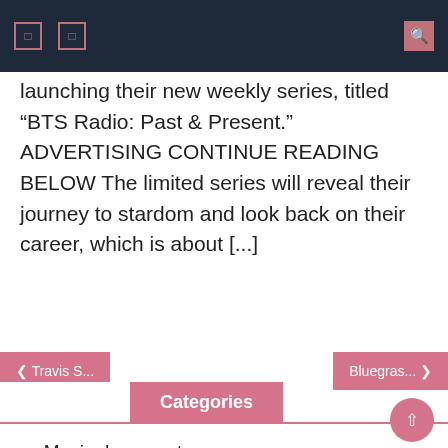Navigation bar with icons
launching their new weekly series, titled “BTS Radio: Past & Present.” ADVERTISING CONTINUE READING BELOW The limited series will reveal their journey to stardom and look back on their career, which is about [...]
Categories
Music documentary
Music movie
Music series
Music show